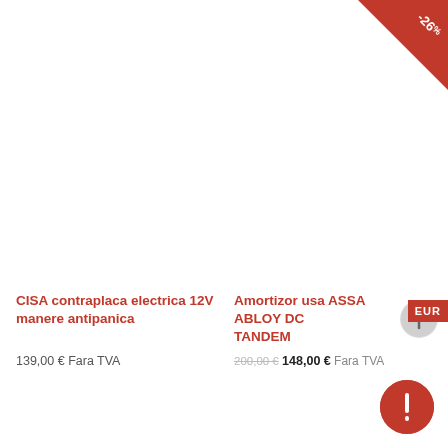[Figure (illustration): Discount ribbon/banner in red with '-26%' text, positioned at top right of second product card]
CISA contraplaca electrica 12V manere antipanica
139,00 € Fara TVA
Amortizor usa ASSA ABLOY DC TANDEM
200,00 € 148,00 € Fara TVA